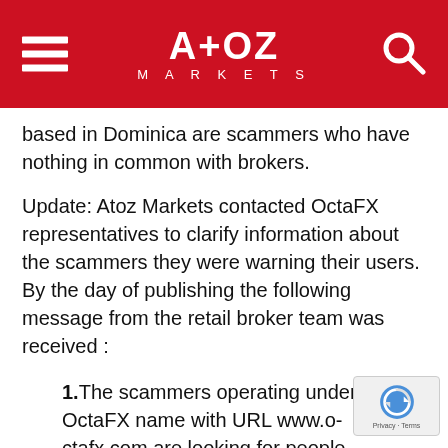AtoZ Markets
based in Dominica are scammers who have nothing in common with brokers.
Update: Atoz Markets contacted OctaFX representatives to clarify information about the scammers they were warning their users. By the day of publishing the following message from the retail broker team was received :
1.The scammers operating under OctaFX name with URL www.o-ctafx.com are looking for people interested in account management. They contact them via social media, people interested in their services send them money, they claim to trade on their behalf, present their victim great trading results, claiming to be trading with OctaFX (but as